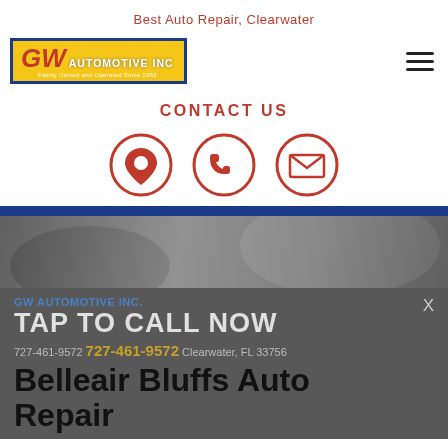Best Auto Repair, Clearwater
[Figure (logo): GW Automotive Inc logo — yellow background with blue border, red GW letters, white AUTOMOTIVE INC text, Family Owned and Operated Since 1982]
[Figure (illustration): Hamburger menu icon (three horizontal lines)]
CONTACT US
[Figure (illustration): Three circular contact icons: location pin, phone, and envelope]
[Figure (photo): Grayscale photo of a mechanic holding a wrench with a car in the background]
GW AUTOMOTIVE INC.
TAP TO CALL NOW
727-461-9572  727-461-9572  Clearwater, FL 33756
Belleair Bluffs Auto Repair